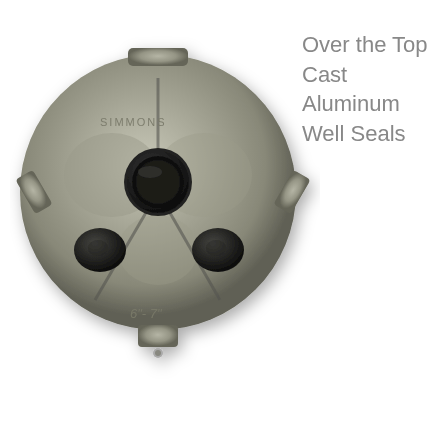[Figure (photo): Cast aluminum over-the-top well seal made by Simmons, labeled '6"-7"', showing a circular disc with three holes (one central with a black rubber seal, two side openings), with four tab extensions around the perimeter and a small bolt at the bottom. Finish is brushed metallic silver-gray.]
Over the Top Cast Aluminum Well Seals